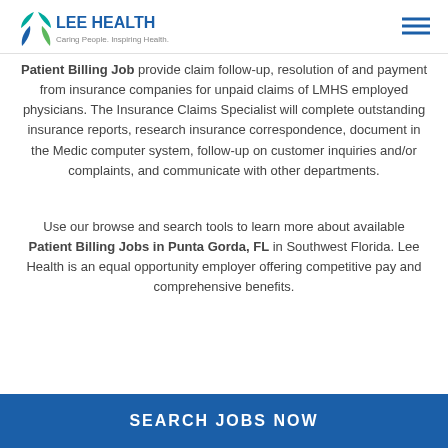LEE HEALTH — Caring People. Inspiring Health.
Patient Billing Job provide claim follow-up, resolution of and payment from insurance companies for unpaid claims of LMHS employed physicians. The Insurance Claims Specialist will complete outstanding insurance reports, research insurance correspondence, document in the Medic computer system, follow-up on customer inquiries and/or complaints, and communicate with other departments.
Use our browse and search tools to learn more about available Patient Billing Jobs in Punta Gorda, FL in Southwest Florida. Lee Health is an equal opportunity employer offering competitive pay and comprehensive benefits.
SEARCH JOBS NOW